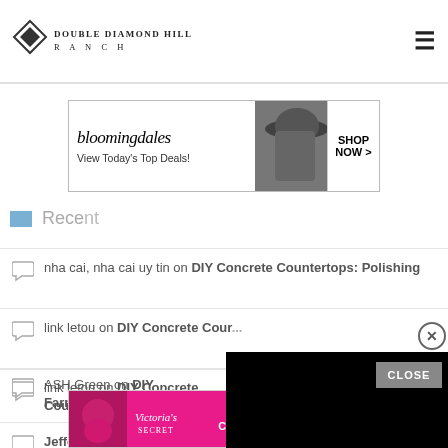Double Diamond Hill Ranch
[Figure (other): Bloomingdale's advertisement banner: 'View Today's Top Deals!' with SHOP NOW button]
Recent Comments
nha cai, nha cai uy tin on DIY Concrete Countertops: Polishing
link letou on DIY Concrete Coun...
link letou on DIY Concrete Coun...
Jefferey Dickson on 7 Common ... or Livestock
ASH Green on DIY Farmhouse Table
[Figure (other): Victoria's Secret advertisement banner: SHOP THE COLLECTION with SHOP NOW button]
[Figure (other): Black video overlay panel with close (X) button]